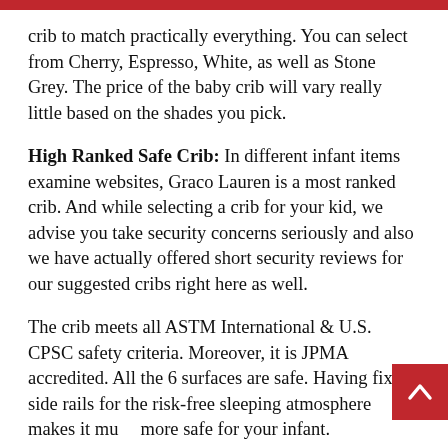crib to match practically everything. You can select from Cherry, Espresso, White, as well as Stone Grey. The price of the baby crib will vary really little based on the shades you pick.
High Ranked Safe Crib: In different infant items examine websites, Graco Lauren is a most ranked crib. And while selecting a crib for your kid, we advise you take security concerns seriously and also we have actually offered short security reviews for our suggested cribs right here as well.
The crib meets all ASTM International & U.S. CPSC safety criteria. Moreover, it is JPMA accredited. All the 6 surfaces are safe. Having fixed side rails for the risk-free sleeping atmosphere makes it mu more safe for your infant.